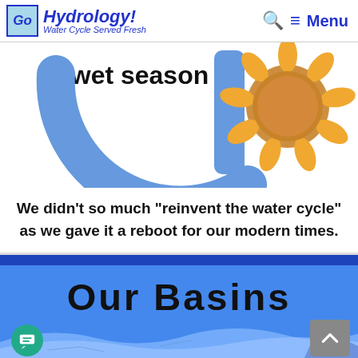Go Hydrology! Water Cycle Served Fresh — Menu
[Figure (illustration): Partial circular arrow diagram showing 'wet season' label with a blue arc and vertical bar, and a sun illustration in orange and brown on the right side — part of a water cycle / seasons diagram.]
We didn't so much "reinvent the water cycle" as we gave it a reboot for our modern times.
Our Basins
[Figure (map): Partial map of basins shown at the bottom of the page in light blue tones.]